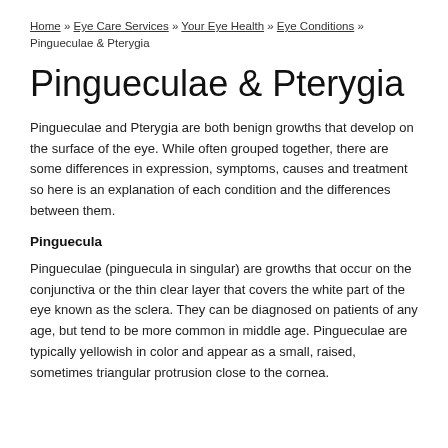Home » Eye Care Services » Your Eye Health » Eye Conditions » Pingueculae & Pterygia
Pingueculae & Pterygia
Pingueculae and Pterygia are both benign growths that develop on the surface of the eye. While often grouped together, there are some differences in expression, symptoms, causes and treatment so here is an explanation of each condition and the differences between them.
Pinguecula
Pingueculae (pinguecula in singular) are growths that occur on the conjunctiva or the thin clear layer that covers the white part of the eye known as the sclera. They can be diagnosed on patients of any age, but tend to be more common in middle age. Pingueculae are typically yellowish in color and appear as a small, raised, sometimes triangular protrusion close to the cornea.